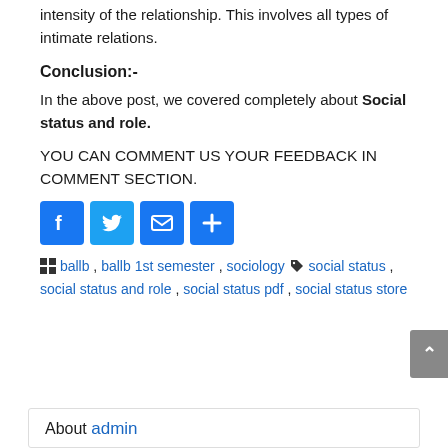intensity of the relationship. This involves all types of intimate relations.
Conclusion:-
In the above post, we covered completely about Social status and role.
YOU CAN COMMENT US YOUR FEEDBACK IN COMMENT SECTION.
[Figure (other): Social media share icons: Facebook, Twitter, Email, Share buttons]
ballb , ballb 1st semester , sociology  social status , social status and role , social status pdf , social status store
About admin